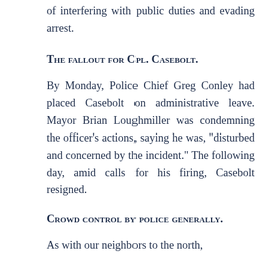of interfering with public duties and evading arrest.
The fallout for Cpl. Casebolt.
By Monday, Police Chief Greg Conley had placed Casebolt on administrative leave. Mayor Brian Loughmiller was condemning the officer’s actions, saying he was, “disturbed and concerned by the incident.” The following day, amid calls for his firing, Casebolt resigned.
Crowd control by police generally.
As with our neighbors to the north,